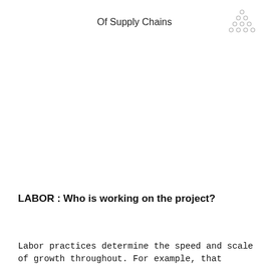Of Supply Chains
[Figure (illustration): Diamond/pyramid pattern made of small circles arranged in rows, decorative logo]
LABOR : Who is working on the project?
Labor practices determine the speed and scale of growth throughout. For example, that